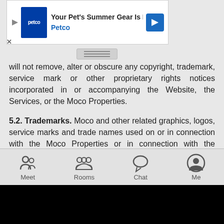[Figure (screenshot): Petco advertisement banner: 'Your Pet's Summer Gear Is Here' with Petco logo and navigation arrow]
will not remove, alter or obscure any copyright, trademark, service mark or other proprietary rights notices incorporated in or accompanying the Website, the Services, or the Moco Properties.
5.2. Trademarks. Moco and other related graphics, logos, service marks and trade names used on or in connection with the Moco Properties or in connection with the Services are the trademarks of Moco and may not be used without permission in connection with any third-party products or services. Other trademarks, service marks and trade names that may appear on or in the Moco Properties are the property of their respective owners.
5.3. Other Content. Except with respect to Your Content, you agree that you have no right or title in or to any Content that appears on or in the Moco Properties.
5.4. Your Content; License to Your Content.
[Figure (screenshot): Mobile app navigation bar with Meet, Rooms, Chat, Me icons]